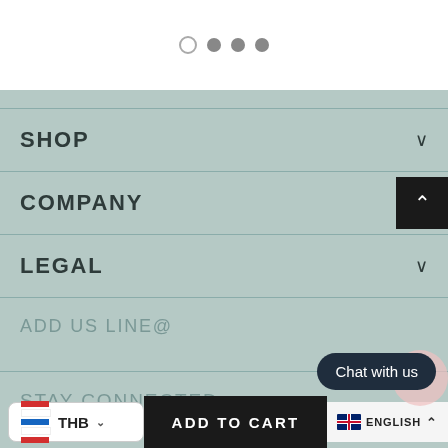[Figure (infographic): Pagination dots: one empty circle, three filled grey circles]
SHOP
COMPANY
LEGAL
ADD US LINE@
STAY CONNECTED
THB
ADD TO CART
Chat with us
ENGLISH